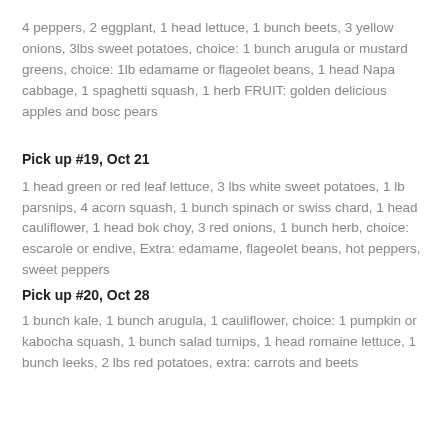4 peppers, 2 eggplant, 1 head lettuce, 1 bunch beets, 3 yellow onions, 3lbs sweet potatoes, choice: 1 bunch arugula or mustard greens, choice: 1lb edamame or flageolet beans, 1 head Napa cabbage, 1 spaghetti squash, 1 herb FRUIT: golden delicious apples and bosc pears
Pick up #19, Oct 21
1 head green or red leaf lettuce, 3 lbs white sweet potatoes, 1 lb parsnips, 4 acorn squash, 1 bunch spinach or swiss chard, 1 head cauliflower, 1 head bok choy, 3 red onions, 1 bunch herb, choice: escarole or endive, Extra: edamame, flageolet beans, hot peppers, sweet peppers
Pick up #20, Oct 28
1 bunch kale, 1 bunch arugula, 1 cauliflower, choice: 1 pumpkin or kabocha squash, 1 bunch salad turnips, 1 head romaine lettuce, 1 bunch leeks, 2 lbs red potatoes, extra: carrots and beets